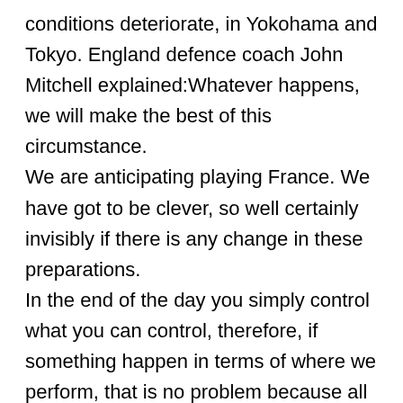conditions deteriorate, in Yokohama and Tokyo. England defence coach John Mitchell explained:Whatever happens, we will make the best of this circumstance. We are anticipating playing France. We have got to be clever, so well certainly invisibly if there is any change in these preparations. In the end of the day you simply control what you can control, therefore, if something happen in terms of where we perform, that is no problem because all along we have concentrated on adapting and becoming adaptable, being ready for any specific situation that is thrown at us. Transferring both matches are a huge logistical challenge for World Cup organisers, using also the 70,000 capability of the Yokohama arena and tens